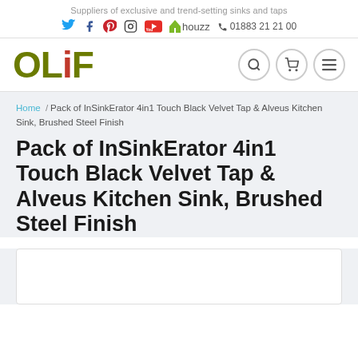Suppliers of exclusive and trend-setting sinks and taps
[Figure (logo): Social media icons: Twitter, Facebook, Pinterest, Instagram, YouTube, Houzz, and phone number 01883 21 21 00]
[Figure (logo): OLiF logo in olive green with red dot on the i, with search, cart, and menu buttons]
Home / Pack of InSinkErator 4in1 Touch Black Velvet Tap & Alveus Kitchen Sink, Brushed Steel Finish
Pack of InSinkErator 4in1 Touch Black Velvet Tap & Alveus Kitchen Sink, Brushed Steel Finish
[Figure (photo): Product image placeholder area (white box at bottom of page)]